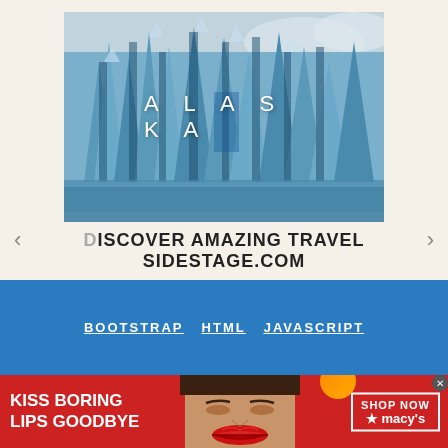[Figure (photo): Glacier/ice wall in blue and white tones with the word ALASKA overlaid in white spaced letters, part of a carousel slideshow with left and right arrows]
DISCOVER AMAZING TRAVEL
SIDESTAGE.COM
[Figure (screenshot): Blue navigation bar section with links: BOOTSTRAP, HTML, JAVASCRIPT in white underlined text]
[Figure (photo): Red advertisement banner: KISS BORING LIPS GOODBYE with a model's face showing red lips, and a Macy's SHOP NOW button on the right]